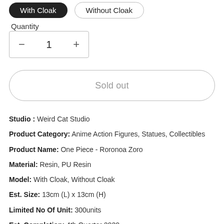With Cloak | Without Cloak
Quantity
- 1 +
Sold out
Studio : Weird Cat Studio
Product Category: Anime Action Figures, Statues, Collectibles
Product Name: One Piece - Roronoa Zoro
Material: Resin, PU Resin
Model: With Cloak, Without Cloak
Est. Size: 13cm (L) x 13cm (H)
Limited No Of Unit: 300units
Est. Completion: 4th Quarter 2020